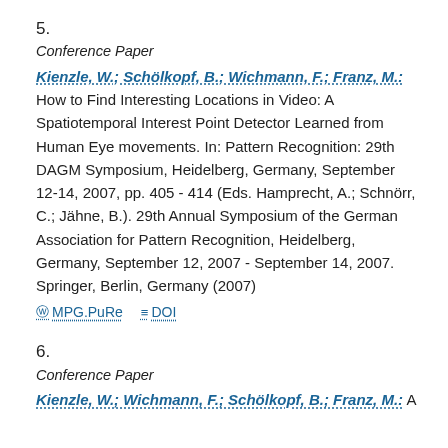5.
Conference Paper
Kienzle, W.; Schölkopf, B.; Wichmann, F.; Franz, M.: How to Find Interesting Locations in Video: A Spatiotemporal Interest Point Detector Learned from Human Eye movements. In: Pattern Recognition: 29th DAGM Symposium, Heidelberg, Germany, September 12-14, 2007, pp. 405 - 414 (Eds. Hamprecht, A.; Schnörr, C.; Jähne, B.). 29th Annual Symposium of the German Association for Pattern Recognition, Heidelberg, Germany, September 12, 2007 - September 14, 2007. Springer, Berlin, Germany (2007)
MPG.PuRe   DOI
6.
Conference Paper
Kienzle, W.; Wichmann, F.; Schölkopf, B.; Franz, M.: A